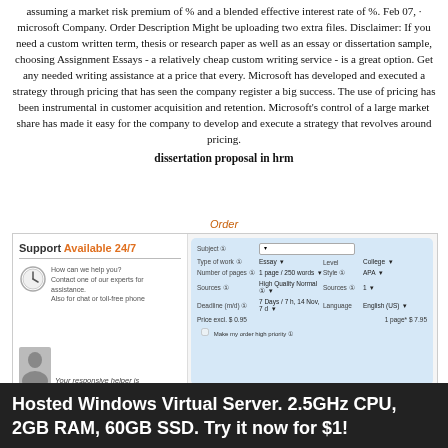assuming a market risk premium of % and a blended effective interest rate of %. Feb 07,  · microsoft Company. Order Description Might be uploading two extra files. Disclaimer: If you need a custom written term, thesis or research paper as well as an essay or dissertation sample, choosing Assignment Essays - a relatively cheap custom writing service - is a great option. Get any needed writing assistance at a price that every. Microsoft has developed and executed a strategy through pricing that has seen the company register a big success. The use of pricing has been instrumental in customer acquisition and retention. Microsoft's control of a large market share has made it easy for the company to develop and execute a strategy that revolves around pricing.
dissertation proposal in hrm
Order
[Figure (screenshot): A screenshot of a writing service website showing a Support Available 24/7 panel on the left with a clock icon and contact information, and an order form on the right with fields for Subject, Type of work, Number of pages, Sources, Deadline, Level, Style, Sources, Language, and price information.]
Hosted Windows Virtual Server. 2.5GHz CPU, 2GB RAM, 60GB SSD. Try it now for $1!